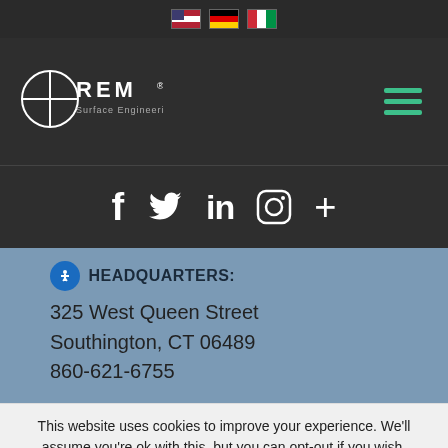[Figure (screenshot): Language flag icons: US flag, German flag, Italian flag]
[Figure (logo): REM Surface Engineering logo with circular crosshair graphic]
[Figure (infographic): Social media icons: Facebook (f), Twitter (bird), LinkedIn (in), Instagram (circle camera), plus sign]
HEADQUARTERS:
325 West Queen Street
Southington, CT 06489
860-621-6755
This website uses cookies to improve your experience. We'll assume you're ok with this, but you can opt-out if you wish.
ACCEPT  DECLINE